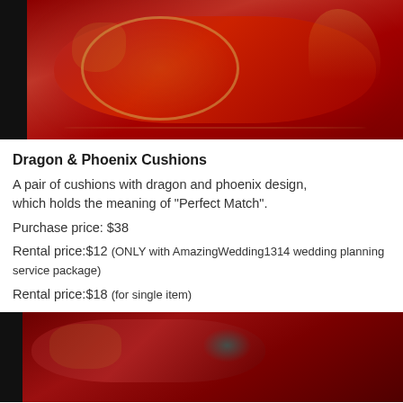[Figure (photo): Red embroidered cushion with dragon and phoenix design on dark background]
Dragon & Phoenix Cushions
A pair of cushions with dragon and phoenix design,
which holds the meaning of "Perfect Match".
Purchase price: $38
Rental price:$12 (ONLY with AmazingWedding1314 wedding planning service package)
Rental price:$18 (for single item)
[Figure (photo): Second red embroidered cushion with dragon and phoenix design, partially visible]